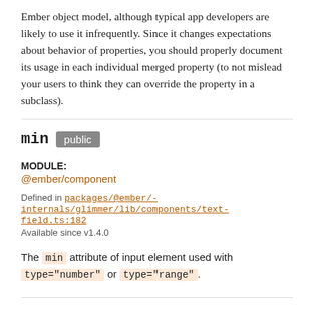Ember object model, although typical app developers are likely to use it infrequently. Since it changes expectations about behavior of properties, you should properly document its usage in each individual merged property (to not mislead your users to think they can override the property in a subclass).
min public
MODULE:
@ember/component
Defined in packages/@ember/-internals/glimmer/lib/components/text-field.ts:182
Available since v1.4.0
The min attribute of input element used with type="number" or type="range".